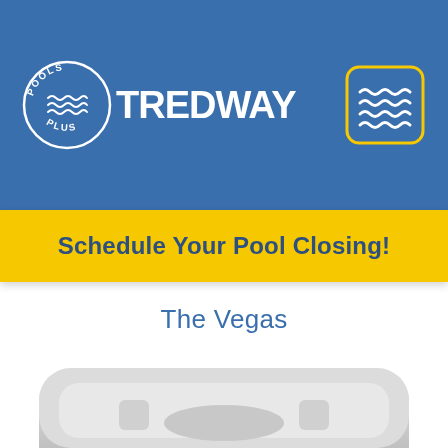[Figure (logo): Tredway Pools Plus logo: circular badge with text 'POOLS' at top and 'PLUS' at bottom, wave lines in center, with large white bold text 'TREDWAY' beside it, on blue background header. Yellow-bordered wave icon in top right corner.]
Schedule Your Pool Closing!
The Vegas
Read more
[Figure (photo): Partial view of a light gray pool or pool equipment at the bottom of the page]